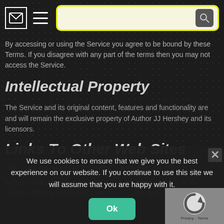[Navigation bar with mail icon, menu icon, and search box]
By accessing or using the Service you agree to be bound by these Terms. If you disagree with any part of the terms then you may not access the Service.
Intellectual Property
The Service and its original content, features and functionality are and will remain the exclusive property of Author JJ Hershey and its licensors.
Links To Other Web Sites
Our ... are not owned or controlled ... links they contain are...
Author JJ Hershey has no control and assumes no fee... or the content, privacy policies, or practices of... nor can...
We use cookies to ensure that we give you the best experience on our website. If you continue to use this site we will assume that you are happy with it.